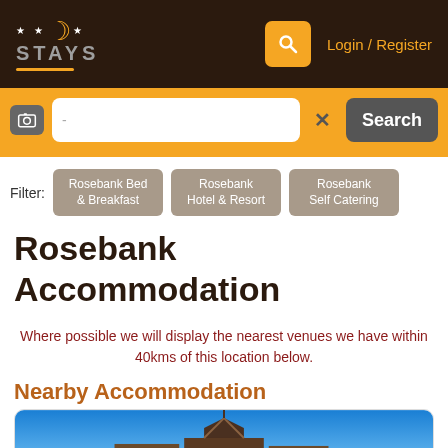[Figure (screenshot): Website navigation bar with Stays logo, search icon, and Login/Register link on dark brown background]
[Figure (screenshot): Orange search bar with camera icon, text input, clear button, and Search button]
Rosebank Bed & Breakfast
Rosebank Hotel & Resort
Rosebank Self Catering
Rosebank Accommodation
Where possible we will display the nearest venues we have within 40kms of this location below.
Nearby Accommodation
[Figure (photo): Partial photo of a building rooftop against a blue sky]